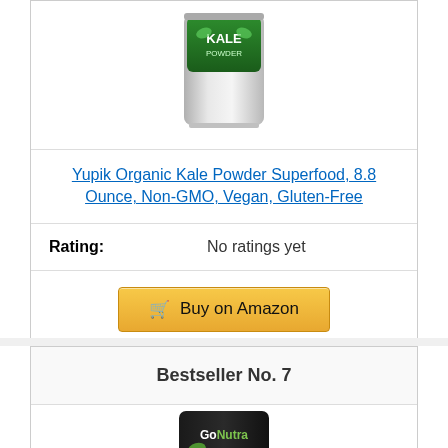[Figure (photo): Yupik Organic Kale Powder product package, silver/white resealable pouch with green kale label]
Yupik Organic Kale Powder Superfood, 8.8 Ounce, Non-GMO, Vegan, Gluten-Free
Rating: No ratings yet
Buy on Amazon
Bestseller No. 7
[Figure (photo): GoNutra product package, black resealable pouch with GoNutra logo]